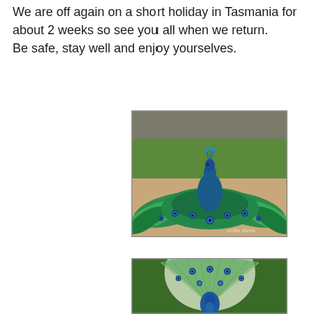We are off again on a short holiday in Tasmania for about 2 weeks so see you all when we return.
Be safe, stay well and enjoy yourselves.
[Figure (photo): A peacock with its tail feathers spread low and wide across the ground, photographed from above/front. The bird has a vivid blue head and neck, and iridescent green and blue tail feathers fanned out. Set on sandy ground with green grass and stone wall in background. Watermark text reads 'erika davis' in bottom right corner.]
[Figure (photo): A peacock displaying its tail feathers fully upright in a large fan, showing the iconic eye-spot pattern of green, blue and gold. The bird stands upright with a blue body. Background shows green bushes and trees. Partially cropped at bottom.]